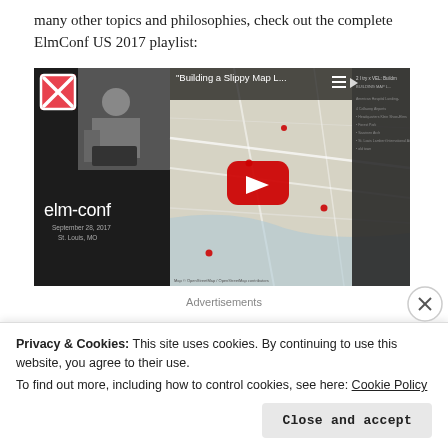many other topics and philosophies, check out the complete ElmConf US 2017 playlist:
[Figure (screenshot): YouTube video thumbnail showing 'Building a Slippy Map L...' from elm-conf, September 28, 2017, St. Louis, MO. Left panel shows elm-conf branding with a presenter at a podium. Right panel shows a map with a YouTube play button overlay.]
Advertisements
Privacy & Cookies: This site uses cookies. By continuing to use this website, you agree to their use.
To find out more, including how to control cookies, see here: Cookie Policy
Close and accept